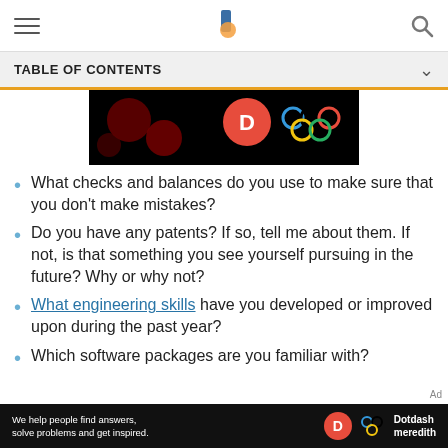TABLE OF CONTENTS
[Figure (photo): Dark banner image with colorful circles and Olympic rings on black background]
What checks and balances do you use to make sure that you don't make mistakes?
Do you have any patents? If so, tell me about them. If not, is that something you see yourself pursuing in the future? Why or why not?
What engineering skills have you developed or improved upon during the past year?
Which software packages are you familiar with?
[Figure (logo): Dotdash Meredith advertisement banner: We help people find answers, solve problems and get inspired.]